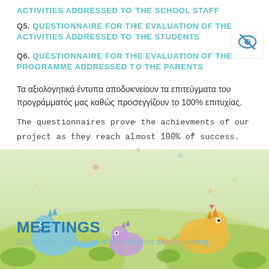ACTIVITIES ADDRESSED TO THE SCHOOL STAFF
Q5. QUESTIONNAIRE FOR THE EVALUATION OF THE ACTIVITIES ADDRESSED TO THE STUDENTS
[Figure (logo): Blue eye/vision icon in white rounded square]
Q6. QUESTIONNAIRE FOR THE EVALUATION OF THE PROGRAMME ADDRESSED TO THE PARENTS
Τα αξιολογητικά έντυπα αποδυκνείουν τα επιτεύγματα του προγράμματός μας καθώς προσεγγίζουν το 100% επιτυχίας.
The questionnaires prove the achievments of our project as they reach almost 100% of success.
[Figure (illustration): Cartoon dinosaurs on green grass background at bottom of page]
MEETINGS
Coordinators evaluation of coordinators official meeting